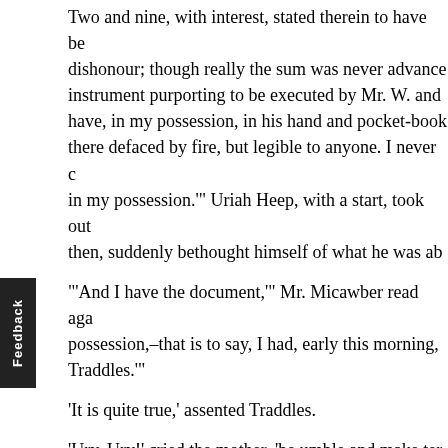Two and nine, with interest, stated therein to have been dishonour; though really the sum was never advance instrument purporting to be executed by Mr. W. and have, in my possession, in his hand and pocket-book there defaced by fire, but legible to anyone. I never c in my possession.'” Uriah Heep, with a start, took out then, suddenly bethought himself of what he was ab
“'And I have the document,'” Mr. Micawber read aga possession,–that is to say, I had, early this morning, Traddles.”'
'It is quite true,' assented Traddles.
'Ury, Ury!' cried the mother, 'be umble and make ter him time to think. Mr. Copperfield, I'm sure you kno
It was singular to see how the mother still held to the
'Mother,' he said, with an impatient bite at the hand take and fire a loaded gun at me.'
'But I love you, Ury,' cried Mrs. Heep. And I have no